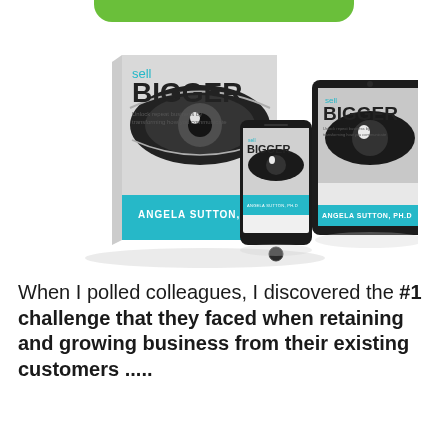[Figure (illustration): Book covers of 'sell BIGGER' by Angela Sutton, Ph.D. shown in three formats: a physical paperback book, a smartphone, and a tablet. The book cover features a close-up eye image in black and white with a teal/blue banner at the bottom with the author's name.]
When I polled colleagues, I discovered the #1 challenge that they faced when retaining and growing business from their existing customers .....